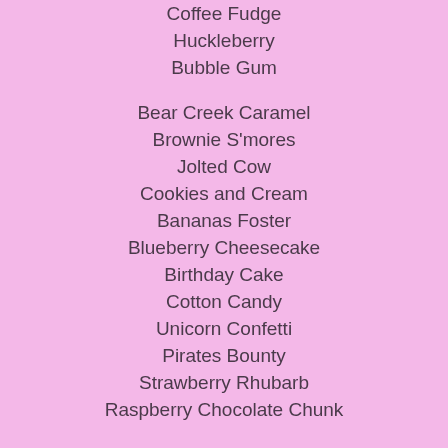Coffee Fudge
Huckleberry
Bubble Gum
Bear Creek Caramel
Brownie S'mores
Jolted Cow
Cookies and Cream
Bananas Foster
Blueberry Cheesecake
Birthday Cake
Cotton Candy
Unicorn Confetti
Pirates Bounty
Strawberry Rhubarb
Raspberry Chocolate Chunk